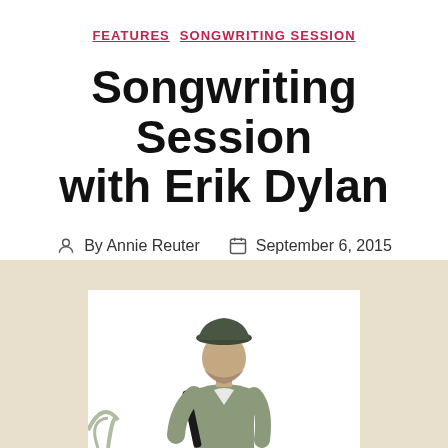FEATURES  SONGWRITING SESSION
Songwriting Session with Erik Dylan
By Annie Reuter   September 6, 2015
[Figure (photo): Photo of Erik Dylan wearing a cap and jacket against a light background, shown from waist up]